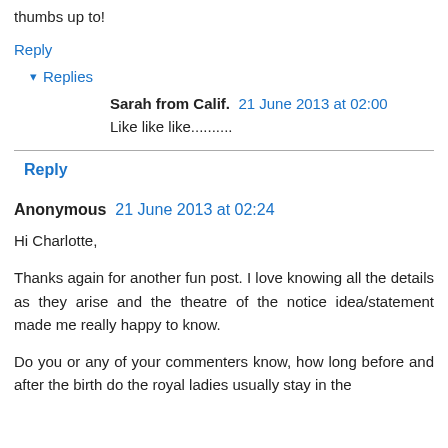thumbs up to!
Reply
▾ Replies
Sarah from Calif.  21 June 2013 at 02:00
Like like like..........
Reply
Anonymous  21 June 2013 at 02:24
Hi Charlotte,
Thanks again for another fun post. I love knowing all the details as they arise and the theatre of the notice idea/statement made me really happy to know.
Do you or any of your commenters know, how long before and after the birth do the royal ladies usually stay in the